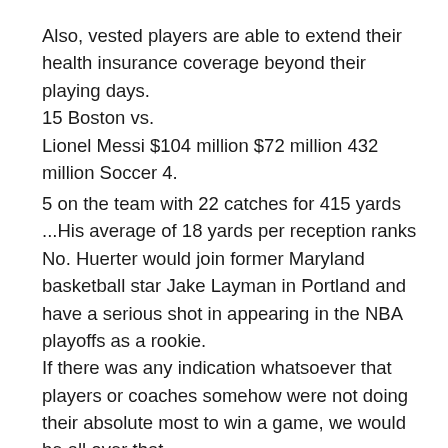Also, vested players are able to extend their health insurance coverage beyond their playing days. 15 Boston vs. Lionel Messi $104 million $72 million 432 million Soccer 4.
5 on the team with 22 catches for 415 yards ...His average of 18 yards per reception ranks No. Huerter would join former Maryland basketball star Jake Layman in Portland and have a serious shot in appearing in the NBA playoffs as a rookie. If there was any indication whatsoever that players or coaches somehow were not doing their absolute most to win a game, we would be all over that. – Many fans are willing to blow the whole thing up if Brady leaves this offseason so it's understandable why they'd consider moving Gilmore, who is coming